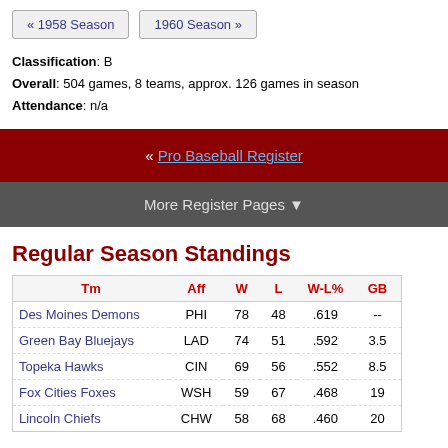« 1958 Season   1960 Season »
Classification: B
Overall: 504 games, 8 teams, approx. 126 games in season
Attendance: n/a
« Pro Baseball Register
More Register Pages ▼
Regular Season Standings
| Tm | Aff | W | L | W-L% | GB |
| --- | --- | --- | --- | --- | --- |
| Des Moines Demons | PHI | 78 | 48 | .619 | -- |
| Green Bay Bluejays | LAD | 74 | 51 | .592 | 3.5 |
| Topeka Hawks | CIN | 69 | 56 | .552 | 8.5 |
| Fox Cities Foxes | WSH | 59 | 67 | .468 | 19 |
| Lincoln Chiefs | CHW | 58 | 68 | .460 | 20 |